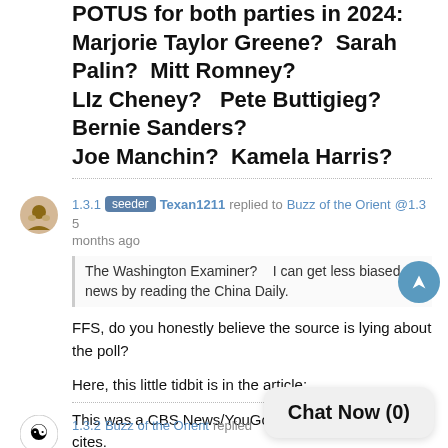POTUS for both parties in 2024:  Marjorie Taylor Greene?  Sarah Palin?  Mitt Romney?  LIz Cheney?  Pete Buttigieg?  Bernie Sanders?  Joe Manchin?  Kamela Harris?
1.3.1  seeder  Texan1211  replied to  Buzz of the Orient  @1.3  5 months ago
The Washington Examiner?    I can get less biased news by reading the China Daily.
FFS, do you honestly believe the source is lying about the poll?
Here, this little tidbit is in the article:
This was a CBS News/YouGov survey the article cites.
Since you choose to believe the story is false, feel free to look up the survey for your own self.
1.3.2  Buzz of the Orient  replied  months ago
Chat Now (0)